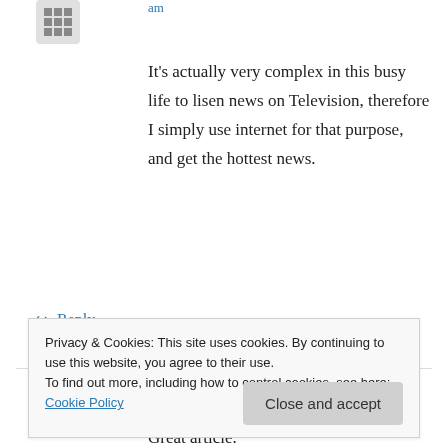am
It's actually very complex in this busy life to lisen news on Television, therefore I simply use internet for that purpose, and get the hottest news.
↪ Reply
j on April 4, 2015 at 9:21 am
Great article.
Privacy & Cookies: This site uses cookies. By continuing to use this website, you agree to their use.
To find out more, including how to control cookies, see here: Cookie Policy
Close and accept
В 1860 году молодой швейцарский часовщик